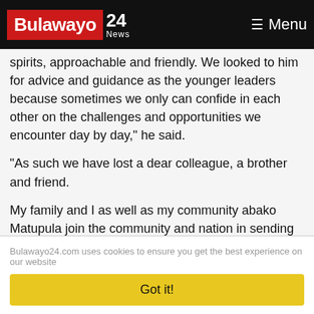Bulawayo 24 News — Menu
spirits, approachable and friendly. We looked to him for advice and guidance as the younger leaders because sometimes we only can confide in each other on the challenges and opportunities we encounter day by day," he said.
"As such we have lost a dear colleague, a brother and friend.
My family and I as well as my community abako Matupula join the community and nation in sending our deepest condolences to the Mabhikwa family and the community in mourning.
Bulawayo24.com uses cookies to ensure you get the best experience on our website
Got it!